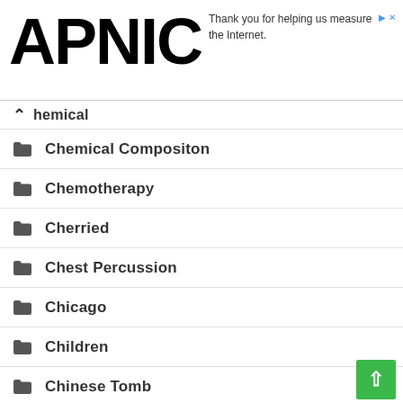APNIC — Thank you for helping us measure the Internet.
Chemical
Chemical Compositon
Chemotherapy
Cherried
Chest Percussion
Chicago
Children
Chinese Tomb
Chlorophyll
Chloropicrin
Chocolate Mushrooms